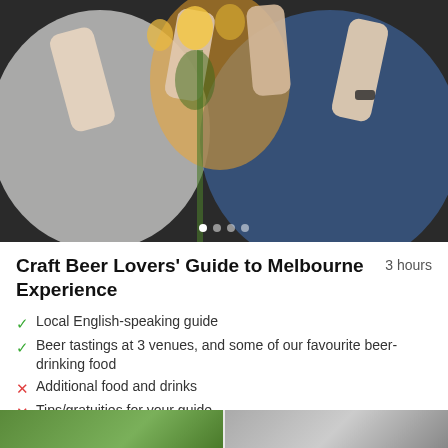[Figure (photo): Group of people clinking drinks together in a toast, outdoor setting. Carousel with 4 dots, first dot active.]
Craft Beer Lovers' Guide to Melbourne Experience   3 hours
Local English-speaking guide
Beer tastings at 3 venues, and some of our favourite beer-drinking food
Additional food and drinks
Tips/gratuities for your guide.
US$69.00
Add to Cart
More Info
[Figure (photo): Two thumbnail images at the bottom of the page, partially visible.]